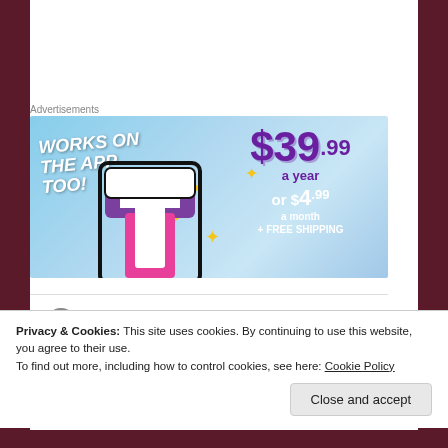Advertisements
[Figure (illustration): Tumblr ad banner with sky blue background showing 'WORKS ON THE APP TOO!' text, a colorful Tumblr logo letter T with sparkle stars, and pricing: $39.99 a year or $4.99 a month + FREE SHIPPING]
Privacy & Cookies: This site uses cookies. By continuing to use this website, you agree to their use.
To find out more, including how to control cookies, see here: Cookie Policy
Close and accept